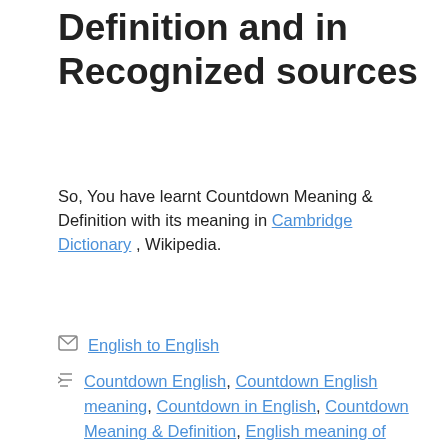Definition and in Recognized sources
So, You have learnt Countdown Meaning & Definition with its meaning in Cambridge Dictionary , Wikipedia.
English to English
Countdown English, Countdown English meaning, Countdown in English, Countdown Meaning & Definition, English meaning of Countdown, what is the meaning of Countdown
< Countermark
> Comtation